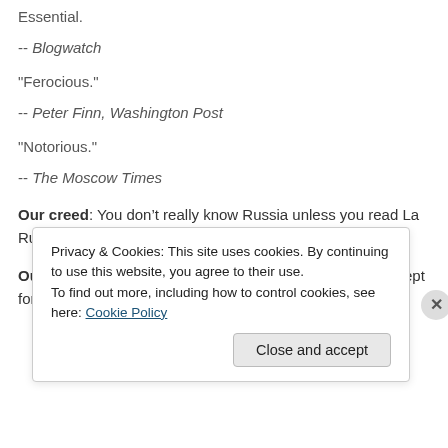Essential.
-- Blogwatch
"Ferocious."
-- Peter Finn, Washington Post
"Notorious."
-- The Moscow Times
Our creed: You don’t really know Russia unless you read La Russophobe!
Our motto: Russia is the best country in the world . . . except for all the others.
Privacy & Cookies: This site uses cookies. By continuing to use this website, you agree to their use.
To find out more, including how to control cookies, see here: Cookie Policy
Close and accept